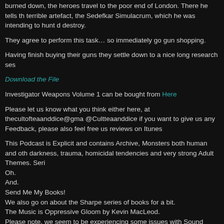burned down, the heroes travel to the poor end of London. There he tells the terrible artefact, the Sedefkar Simulacrum, which he was intending to hunt d destroy.
They agree to perform this task… so immediately go gun shopping.
Having finish buying their guns they settle down to a nice long research ses
Download the File
Investigator Weapons Volume 1 can be bought from Here
Please let us know what you think either here, at thecultofteaanddice@gma @Cultteaanddice if you want to give us any Feedback, please also feel free us reviews on Itunes
This Podcast is Explicit and contains Archive, Monsters both human and oth darkness, trauma, homicidal tendencies and very strong Adult Themes. Seri Oh. And. Send Me My Books! We also go on about the Sharpe series of books for a bit. The Music is Oppressive Gloom by Kevin MacLeod. Please note, we seem to be experiencing some issues with Sound Quality, w am working to deal with.
Leave a comment »